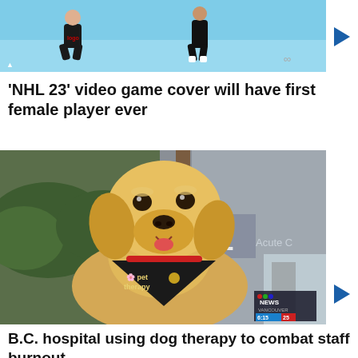[Figure (photo): Two athletes crouching/posing on what appears to be an ice rink, one wearing a jersey with logo, image has a blue/cyan background. This is the NHL 23 game cover image.]
'NHL 23' video game cover will have first female player ever
[Figure (photo): A golden retriever wearing a black 'pet therapy' bandana, sitting outside in front of a building sign reading '51' and 'Acute C...', with CTV News Vancouver lower-third showing 6:15 and 25.]
B.C. hospital using dog therapy to combat staff burnout